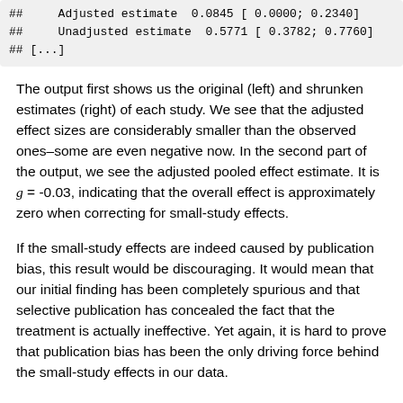## Adjusted estimate 0.0845 [ 0.0000; 0.2340]
## Unadjusted estimate 0.5771 [ 0.3782; 0.7760]
## [...]
The output first shows us the original (left) and shrunken estimates (right) of each study. We see that the adjusted effect sizes are considerably smaller than the observed ones–some are even negative now. In the second part of the output, we see the adjusted pooled effect estimate. It is g = -0.03, indicating that the overall effect is approximately zero when correcting for small-study effects.
If the small-study effects are indeed caused by publication bias, this result would be discouraging. It would mean that our initial finding has been completely spurious and that selective publication has concealed the fact that the treatment is actually ineffective. Yet again, it is hard to prove that publication bias has been the only driving force behind the small-study effects in our data.